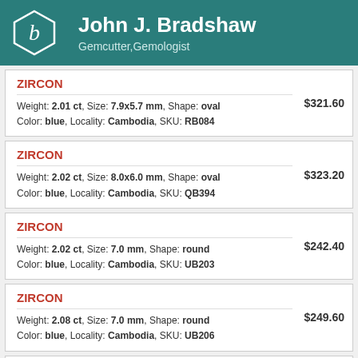John J. Bradshaw — Gemcutter, Gemologist
ZIRCON — Weight: 2.01 ct, Size: 7.9x5.7 mm, Shape: oval, Color: blue, Locality: Cambodia, SKU: RB084 — $321.60
ZIRCON — Weight: 2.02 ct, Size: 8.0x6.0 mm, Shape: oval, Color: blue, Locality: Cambodia, SKU: QB394 — $323.20
ZIRCON — Weight: 2.02 ct, Size: 7.0 mm, Shape: round, Color: blue, Locality: Cambodia, SKU: UB203 — $242.40
ZIRCON — Weight: 2.08 ct, Size: 7.0 mm, Shape: round, Color: blue, Locality: Cambodia, SKU: UB206 — $249.60
ZIRCON — Weight: 2.17 ct, Size: 7.6x6.2 mm, Shape: oval, Color: blue, Locality: Cambodia, SKU: SB026 — $477.40